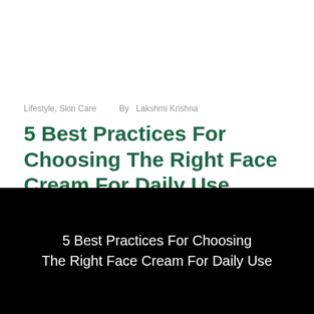Lifestyle, Skin Care   By  Lakshmi Krishna
5 Best Practices For Choosing The Right Face Cream For Daily Use
[Figure (photo): Black background image with white centered text reading '5 Best Practices For Choosing The Right Face Cream For Daily Use']